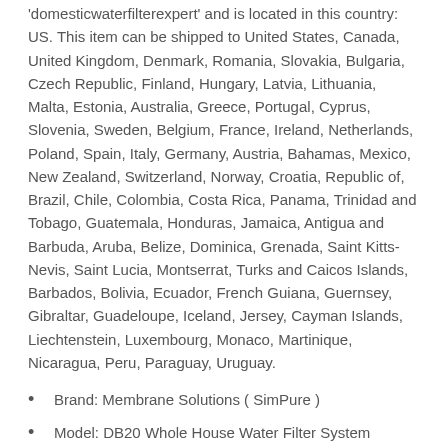'domesticwaterfilterexpert' and is located in this country: US. This item can be shipped to United States, Canada, United Kingdom, Denmark, Romania, Slovakia, Bulgaria, Czech Republic, Finland, Hungary, Latvia, Lithuania, Malta, Estonia, Australia, Greece, Portugal, Cyprus, Slovenia, Sweden, Belgium, France, Ireland, Netherlands, Poland, Spain, Italy, Germany, Austria, Bahamas, Mexico, New Zealand, Switzerland, Norway, Croatia, Republic of, Brazil, Chile, Colombia, Costa Rica, Panama, Trinidad and Tobago, Guatemala, Honduras, Jamaica, Antigua and Barbuda, Aruba, Belize, Dominica, Grenada, Saint Kitts-Nevis, Saint Lucia, Montserrat, Turks and Caicos Islands, Barbados, Bolivia, Ecuador, French Guiana, Guernsey, Gibraltar, Guadeloupe, Iceland, Jersey, Cayman Islands, Liechtenstein, Luxembourg, Monaco, Martinique, Nicaragua, Peru, Paraguay, Uruguay.
Brand: Membrane Solutions ( SimPure )
Model: DB20 Whole House Water Filter System
MPN: RSWHB007
Type: Whole House Water Filters
Capacity: 1000000 gal